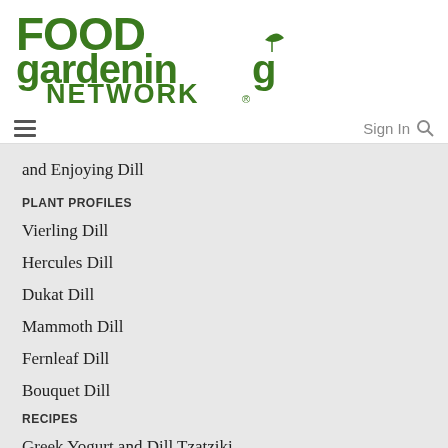[Figure (logo): Food Gardening Network logo in dark green with leaf accent on the letter 'g' in gardening]
Sign In 🔍
and Enjoying Dill
PLANT PROFILES
Vierling Dill
Hercules Dill
Dukat Dill
Mammoth Dill
Fernleaf Dill
Bouquet Dill
RECIPES
Greek Yogurt and Dill Tzatziki